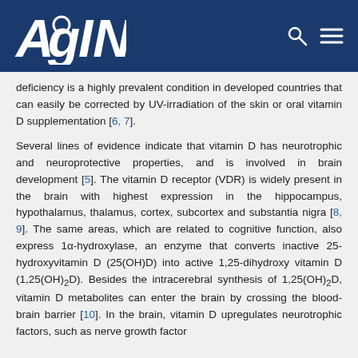AGING
deficiency is a highly prevalent condition in developed countries that can easily be corrected by UV-irradiation of the skin or oral vitamin D supplementation [6, 7].
Several lines of evidence indicate that vitamin D has neurotrophic and neuroprotective properties, and is involved in brain development [5]. The vitamin D receptor (VDR) is widely present in the brain with highest expression in the hippocampus, hypothalamus, thalamus, cortex, subcortex and substantia nigra [8, 9]. The same areas, which are related to cognitive function, also express 1α-hydroxylase, an enzyme that converts inactive 25-hydroxyvitamin D (25(OH)D) into active 1,25-dihydroxy vitamin D (1,25(OH)2D). Besides the intracerebral synthesis of 1,25(OH)2D, vitamin D metabolites can enter the brain by crossing the blood-brain barrier [10]. In the brain, vitamin D upregulates neurotrophic factors, such as nerve growth factor...